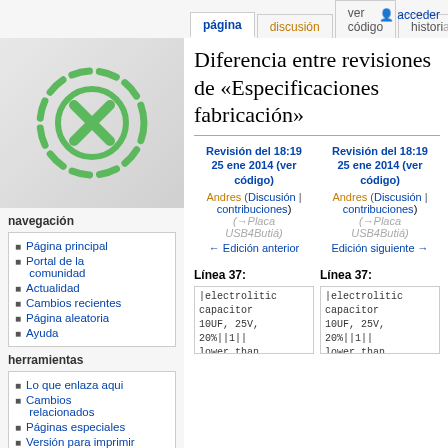página | discusión | ver código | historia | acceder
[Figure (logo): Green X inside a dashed circle logo on grey background]
navegación
Página principal
Portal de la comunidad
Actualidad
Cambios recientes
Página aleatoria
Ayuda
herramientas
Lo que enlaza aqui
Cambios relacionados
Páginas especiales
Versión para imprimir
Enlace permanente
Diferencia entre revisiones de «Especificaciones fabricación»
Revisión del 18:19 25 ene 2014 (ver código)
Andres (Discusión | contribuciones)
(→Placa USB4Butiá)
← Edición anterior

Revisión del 18:19 25 ene 2014 (ver código)
Andres (Discusión | contribuciones)
(→Placa USB4Butiá)
Edición siguiente →
Línea 37:
|electrolitic capacitor 10UF, 25V, 20%||1||
lower than
7mm||10uF

Línea 37:
|electrolitic capacitor 10UF, 25V, 20%||1||
lower than
7mm||10uF